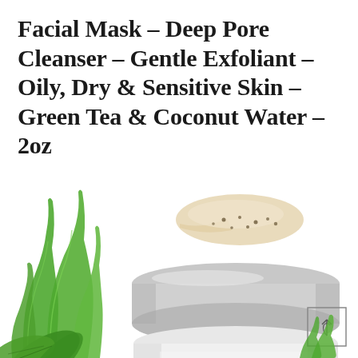Facial Mask – Deep Pore Cleanser – Gentle Exfoliant – Oily, Dry & Sensitive Skin – Green Tea & Coconut Water – 2oz
[Figure (photo): Product photo of InstaNatural Brightening Vitamin C Scrub jar with silver/white lid, shown open with aloe vera leaves on the left, a smear of the cream product floating above the jar, and partial product label reading 'insta natural. BRIGHTENING VITAMIN C SCRUB'. A small thumbnail icon is visible in the lower right corner.]